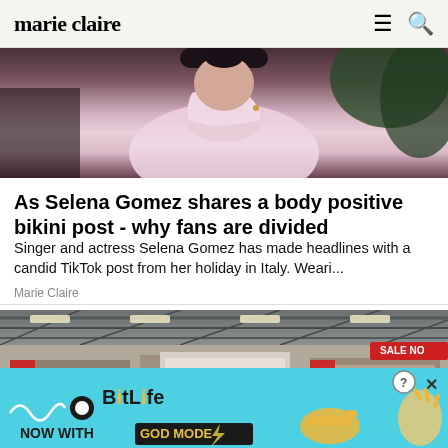marie claire
[Figure (photo): Person wearing a light pink turtleneck sweater, cropped photo showing neck and torso only, with green plants in background]
As Selena Gomez shares a body positive bikini post - why fans are divided
Singer and actress Selena Gomez has made headlines with a candid TikTok post from her holiday in Italy. Weari...
Marie Claire
[Figure (photo): Interior of a large retail store/warehouse with high ceilings, industrial lighting, display shelving, and a 'SALE NOW' banner in red]
[Figure (other): BitLife advertisement banner: light blue background with BitLife logo, 'NOW WITH GOD MODE' text, cartoon hand illustrations, question mark button and X close button]